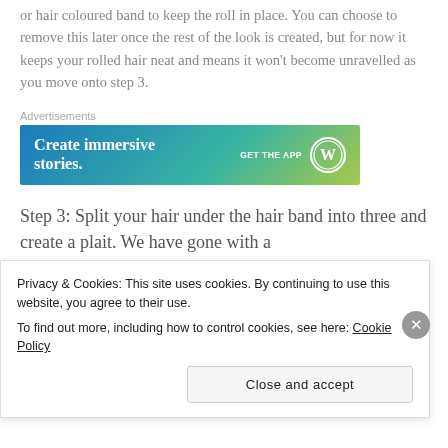Step 2: Once you get to your ear, fasten with a clear or hair coloured band to keep the roll in place. You can choose to remove this later once the rest of the look is created, but for now it keeps your rolled hair neat and means it won't become unravelled as you move onto step 3.
[Figure (other): Advertisement banner: 'Create immersive stories' with GET THE APP and WordPress logo]
Step 3: Split your hair under the hair band into three and create a plait. We have gone with a
Privacy & Cookies: This site uses cookies. By continuing to use this website, you agree to their use. To find out more, including how to control cookies, see here: Cookie Policy